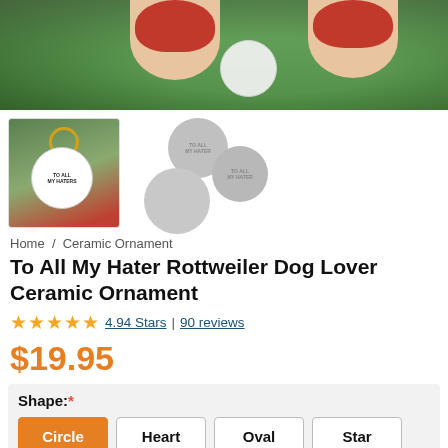[Figure (photo): Close-up photo of a hand with red-painted fingernails holding a white ceramic ornament against a green bokeh background]
[Figure (photo): Thumbnail image of a round ceramic Rottweiler dog ornament being held, with additional gray variant circles showing different ornament shapes]
Home / Ceramic Ornament
To All My Hater Rottweiler Dog Lover Ceramic Ornament
4.94 Stars | 90 reviews
$19.95
Shape:*
Circle Heart Oval Star